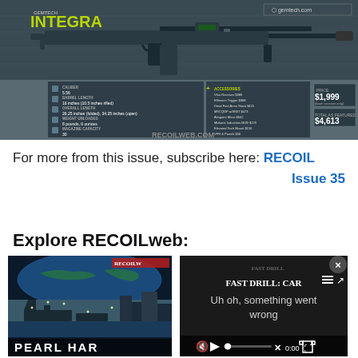[Figure (photo): Gemtech Integra AR-style rifle with specifications overlay showing caliber 5.56, barrel length 16 inches, overall length 26.25 inches, weight 8 pounds 6 ounces, magazine capacity 30, and accessories listed with prices. Total price $1,999 (lower receiver only) and $4,613. RECOILWEB.COM credit at bottom right.]
For more from this issue, subscribe here: RECOIL Issue 35
Explore RECOILweb:
[Figure (photo): Pearl Harbor themed image showing ships in harbor with globe in background, RECOILWEB logo, and partial text PEARL HAR... at bottom]
[Figure (screenshot): Video player showing FAST DRILL: CAR= with error message 'Uh oh, something went wrong', muted audio icon, play button, progress bar at 0:00, fullscreen button, and close X button]